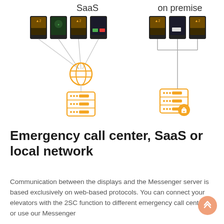[Figure (infographic): Network architecture diagram showing SaaS deployment (4 display devices connected via lines to an orange globe/internet icon, then to an orange server stack below) on the left, and on-premise deployment (3 display devices connected via a tree structure to an orange server stack with a lock icon) on the right. Labels 'SaaS' and 'on premise' appear above each group.]
Emergency call center, SaaS or local network
Communication between the displays and the Messenger server is based exclusively on web-based protocols. You can connect your elevators with the 2SC function to different emergency call centers or use our Messenger